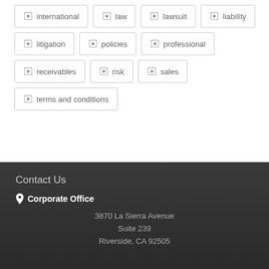international
law
lawsuit
liability
litigation
policies
professional
receivables
risk
sales
terms and conditions
Contact Us
Corporate Office
3870 La Sierra Avenue
Suite 239
Riverside, CA 92505